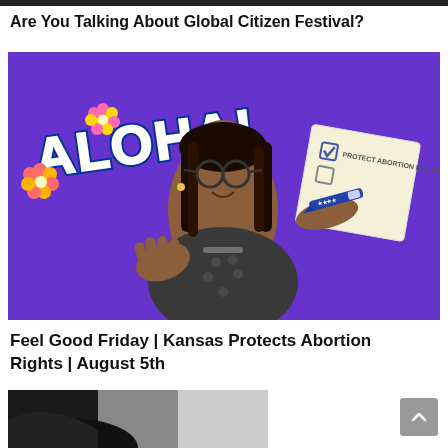Are You Talking About Global Citizen Festival?
[Figure (screenshot): Woman with braids and glasses wearing leopard print top, gesturing with open hand, on a purple background. Left side shows 'ALOHA!' text with tropical flower emojis. Right side shows an illustrated hand holding a pen checking a ballot that reads 'PROTECT ABORTION RIGHTS'.]
Feel Good Friday | Kansas Protects Abortion Rights | August 5th
[Figure (screenshot): Partial image showing what appears to be a black and white photo, cropped at the bottom of the page.]